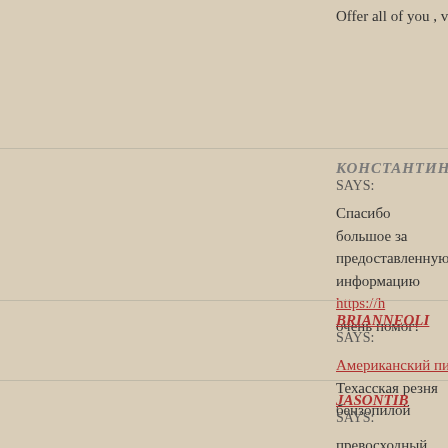Offer all of you , visit the site and learn all methods of massage
КОНСТАНТИН
SAYS:
Спасибо большое за предоставленную информацию https://... очень помог!
BRIANNEOLI
SAYS:
Американский пирог часть смотреть онлайн все части по по...
Техасская резня бензопилой
JASONTIB
SAYS:
превосходный веб сайт https://lolz.guru/articles